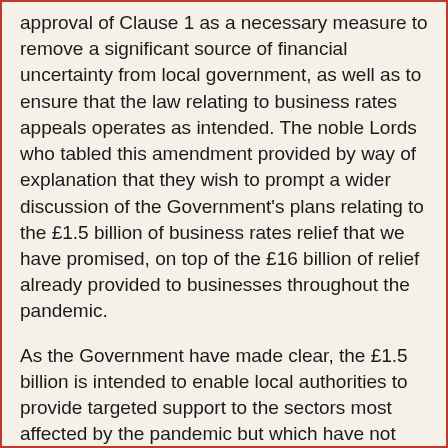approval of Clause 1 as a necessary measure to remove a significant source of financial uncertainty from local government, as well as to ensure that the law relating to business rates appeals operates as intended. The noble Lords who tabled this amendment provided by way of explanation that they wish to prompt a wider discussion of the Government's plans relating to the £1.5 billion of business rates relief that we have promised, on top of the £16 billion of relief already provided to businesses throughout the pandemic.
As the Government have made clear, the £1.5 billion is intended to enable local authorities to provide targeted support to the sectors most affected by the pandemic but which have not benefited from support linked to business rates. Within those sectors, the relief will